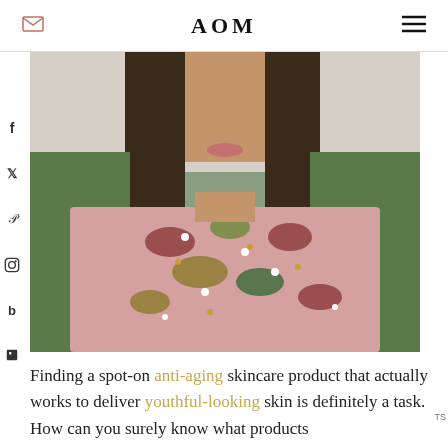AOM
[Figure (photo): A woman wearing a pink embellished top with colorful beaded floral patterns, photographed outdoors with green hedges in the background.]
Finding a spot-on anti-aging skincare product that actually works to deliver youthful-looking skin is definitely a task. How can you surely know what products